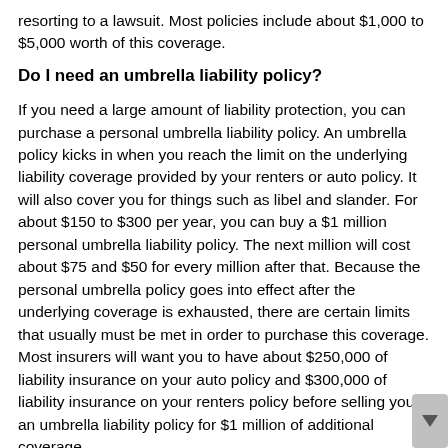resorting to a lawsuit. Most policies include about $1,000 to $5,000 worth of this coverage.
Do I need an umbrella liability policy?
If you need a large amount of liability protection, you can purchase a personal umbrella liability policy. An umbrella policy kicks in when you reach the limit on the underlying liability coverage provided by your renters or auto policy. It will also cover you for things such as libel and slander. For about $150 to $300 per year, you can buy a $1 million personal umbrella liability policy. The next million will cost about $75 and $50 for every million after that. Because the personal umbrella policy goes into effect after the underlying coverage is exhausted, there are certain limits that usually must be met in order to purchase this coverage. Most insurers will want you to have about $250,000 of liability insurance on your auto policy and $300,000 of liability insurance on your renters policy before selling you an umbrella liability policy for $1 million of additional coverage.